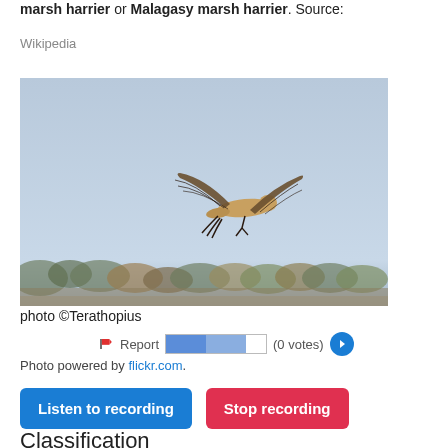marsh harrier or Malagasy marsh harrier. Source: Wikipedia
[Figure (photo): A bird of prey (marsh harrier) in flight against a pale blue sky with blurred treeline in background]
photo ©Terathopius
Report (0 votes)
Photo powered by flickr.com.
Listen to recording   Stop recording
Classification